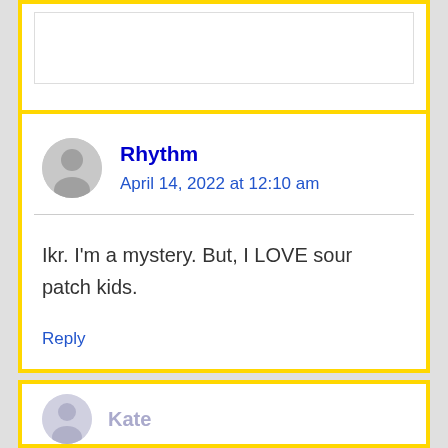[Figure (other): Partial top comment box with border, cut off at top of page]
Rhythm
April 14, 2022 at 12:10 am
Ikr. I'm a mystery. But, I LOVE sour patch kids.
Reply
Kate